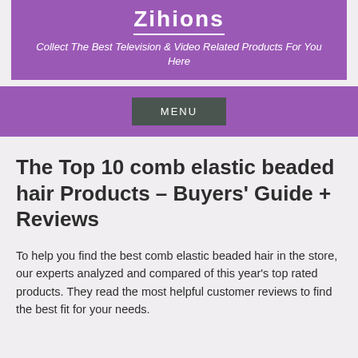Zihions — Collect The Best Television & Video Related Products For You Here
MENU
The Top 10 comb elastic beaded hair Products – Buyers&#039; Guide + Reviews
To help you find the best comb elastic beaded hair in the store, our experts analyzed and compared of this year's top rated products. They read the most helpful customer reviews to find the best fit for your needs.